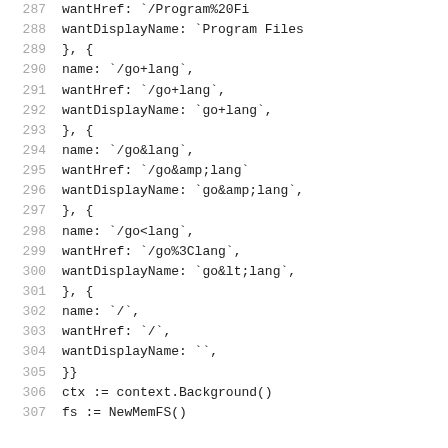287   wantHref:         `/Program%20Fi
288   wantDisplayName: `Program Files
289         }, {
290               name:            `/go+lang`,
291               wantHref:        `/go+lang`,
292               wantDisplayName: `go+lang`,
293         }, {
294               name:            `/go&lang`,
295               wantHref:        `/go&amp;lang`
296               wantDisplayName: `go&amp;lang`,
297         }, {
298               name:            `/go<lang`,
299               wantHref:        `/go%3Clang`,
300               wantDisplayName: `go&lt;lang`,
301         }, {
302               name:            `/`,
303               wantHref:        `/`,
304               wantDisplayName: ``,
305         }}
306         ctx := context.Background()
307         fs := NewMemFS()